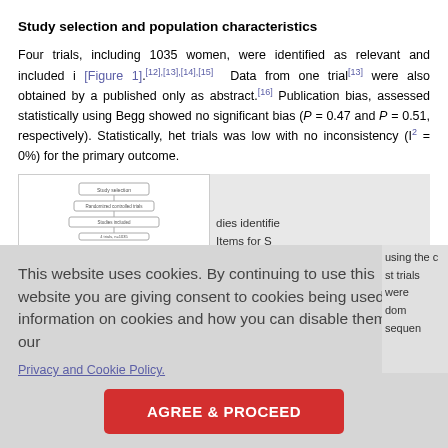Study selection and population characteristics
Four trials, including 1035 women, were identified as relevant and included i [Figure 1].[12],[13],[14],[15] Data from one trial[13] were also obtained by a published only as abstract.[16] Publication bias, assessed statistically using Begg showed no significant bias (P = 0.47 and P = 0.51, respectively). Statistically, het trials was low with no inconsistency (I² = 0%) for the primary outcome.
[Figure (flowchart): Partial flowchart/PRISMA diagram visible in lower section of page, partially obscured by cookie banner]
dies identifie Items for S
This website uses cookies. By continuing to use this website you are giving consent to cookies being used. For information on cookies and how you can disable them visit our
Privacy and Cookie Policy.
AGREE & PROCEED
using the c st trials were dom sequen appropriate method of sequence generation was used to assigned women to th